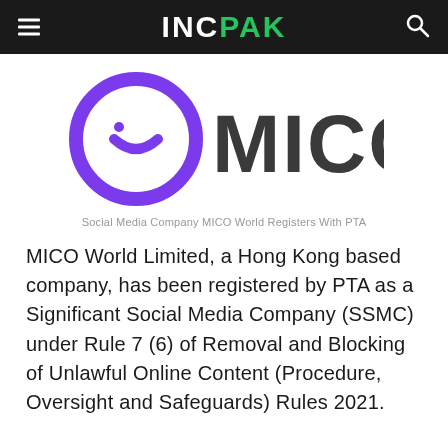INC PAK
[Figure (logo): MICO logo — purple circular icon with a smile/face shape on the left, and bold dark grey text 'MICO' on the right]
Social Media Company MICO World Registers With PTA
MICO World Limited, a Hong Kong based company, has been registered by PTA as a Significant Social Media Company (SSMC) under Rule 7 (6) of Removal and Blocking of Unlawful Online Content (Procedure, Oversight and Safeguards) Rules 2021.